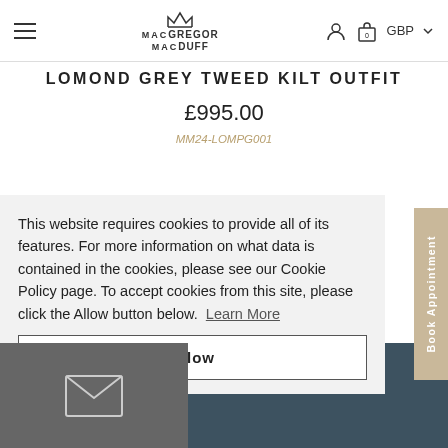MacGREGOR MacDUFF — GBP — hamburger menu, user icon, bag icon
LOMOND GREY TWEED KILT OUTFIT
£995.00
MM24-LOMPG001
This website requires cookies to provide all of its features. For more information on what data is contained in the cookies, please see our Cookie Policy page. To accept cookies from this site, please click the Allow button below.  Learn More
Allow
Book Appointment